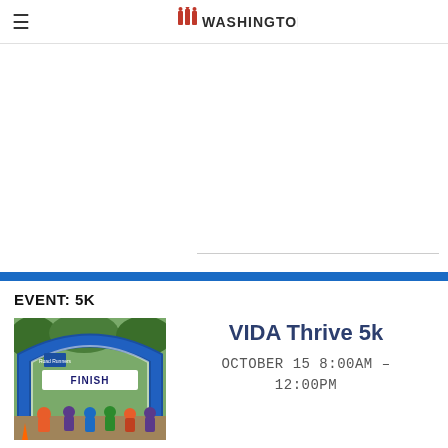≡  [Road Runners Washington logo]
[Figure (other): Advertisement / blank white space area with a horizontal divider line near the bottom]
EVENT: 5K
[Figure (photo): Runners at a finish line arch marked 'FINISH' with Road Runners branding, crowd of runners under a blue inflatable arch outdoors]
VIDA Thrive 5k
OCTOBER 15 8:00AM – 12:00PM